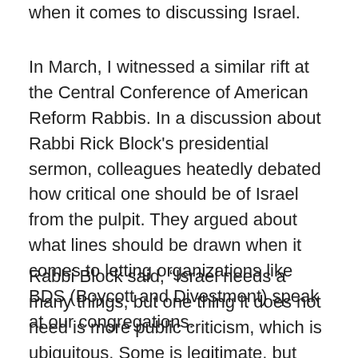when it comes to discussing Israel.
In March, I witnessed a similar rift at the Central Conference of American Reform Rabbis. In a discussion about Rabbi Rick Block’s presidential sermon, colleagues heatedly debated how critical one should be of Israel from the pulpit. They argued about what lines should be drawn when it comes to letting organizations like BDS (Boycott and Divestment) speak at our congregations.
Rabbi Block said, “Israel needs a many things, but one thing it does not need is more public criticism, which is ubiquitous. Some is legitimate, but lacks context.” I support his use of time during the convention to speak about Israel. I prefer we talk about it then we don’t talk about it at all. And while I am not sure I agree that we should silence our criticism, I do think we must always